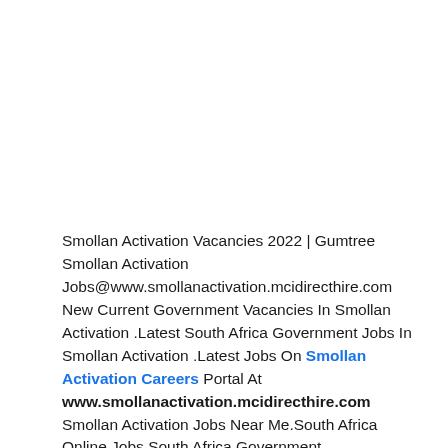Smollan Activation Vacancies 2022 | Gumtree Smollan Activation Jobs@www.smollanactivation.mcidirecthire.com New Current Government Vacancies In Smollan Activation .Latest South Africa Government Jobs In Smollan Activation .Latest Jobs On Smollan Activation Careers Portal At www.smollanactivation.mcidirecthire.com Smollan Activation Jobs Near Me.South Africa Online Jobs.South Africa Government